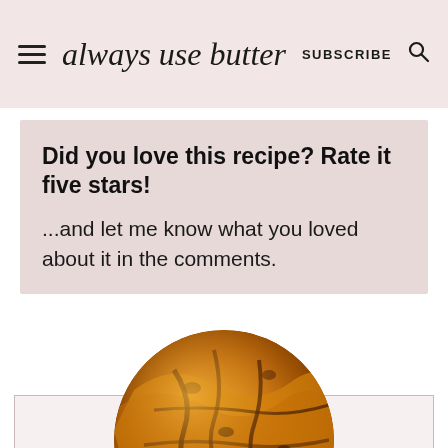always use butter  SUBSCRIBE
Did you love this recipe? Rate it five stars!
...and let me know what you loved about it in the comments.
[Figure (photo): Circular cropped close-up photo of roasted/baked food (appears to be golden-brown roasted vegetables or pastry) with warm orange and brown tones, partially overlapping a light pink box at the bottom.]